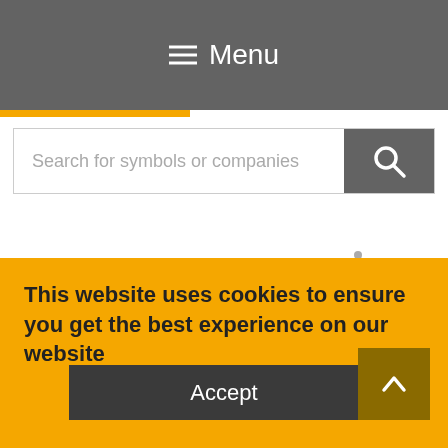≡ Menu
Search for symbols or companies
[Figure (line-chart): Line chart showing stock price over time from May 2014 to Oct 2022+, with y-axis values 4, 6, 8. Price starts around 5, dips to ~4.2 in 2015, rises through 2018-2019 to ~7, drops sharply to ~5.7 in mid-2020, then spikes to ~8.7 peak before settling around 6.]
This website uses cookies to ensure you get the best experience on our website
Accept